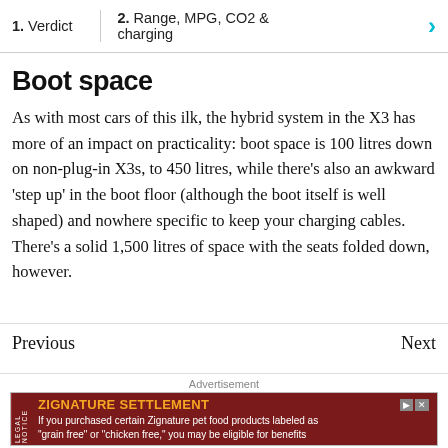1. Verdict   2. Range, MPG, CO2 & charging
Boot space
As with most cars of this ilk, the hybrid system in the X3 has more of an impact on practicality: boot space is 100 litres down on non-plug-in X3s, to 450 litres, while there's also an awkward 'step up' in the boot floor (although the boot itself is well shaped) and nowhere specific to keep your charging cables. There's a solid 1,500 litres of space with the seats folded down, however.
Previous   Next
Advertisement
[Figure (other): Advertisement banner: ZIGNATURE SETTLEMENT legal notice. Red background with yellow bold title 'ZIGNATURE SETTLEMENT' and white body text 'If you purchased certain Zignature pet food products labeled as "grain free" or "chicken free," you may be eligible for benefits']